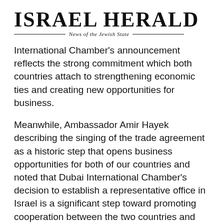ISRAEL HERALD — News of the Jewish State
International Chamber's announcement reflects the strong commitment which both countries attach to strengthening economic ties and creating new opportunities for business.
Meanwhile, Ambassador Amir Hayek describing the singing of the trade agreement as a historic step that opens business opportunities for both of our countries and noted that Dubai International Chamber's decision to establish a representative office in Israel is a significant step toward promoting cooperation between the two countries and their business communities.
The new representative office in Tel Aviv will identify